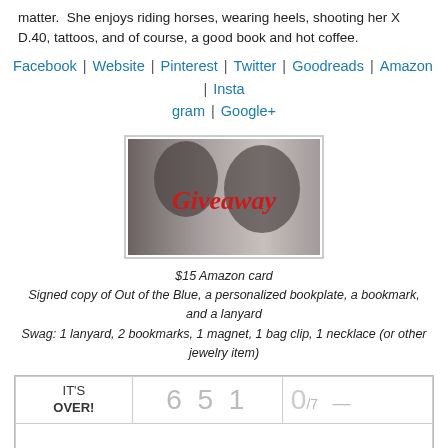matter.  She enjoys riding horses, wearing heels, shooting her X D.40, tattoos, and of course, a good book and hot coffee.
Facebook | Website | Pinterest | Twitter | Goodreads | Amazon | Instagram | Google+
[Figure (illustration): Giveaway image showing a couple almost kissing in black and white, with red cursive text 'Giveaway' overlaid]
$15 Amazon card
Signed copy of Out of the Blue, a personalized bookplate, a bookmark, and a lanyard
Swag: 1 lanyard, 2 bookmarks, 1 magnet, 1 bag clip, 1 necklace (or other jewelry item)
| IT'S OVER! | 6 5 1 | 0/7 — |
|  |  |  |